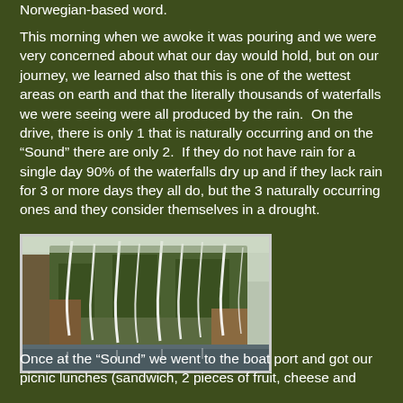Norwegian-based word.
This morning when we awoke it was pouring and we were very concerned about what our day would hold, but on our journey, we learned also that this is one of the wettest areas on earth and that the literally thousands of waterfalls we were seeing were all produced by the rain.  On the drive, there is only 1 that is naturally occurring and on the “Sound” there are only 2.  If they do not have rain for a single day 90% of the waterfalls dry up and if they lack rain for 3 or more days they all do, but the 3 naturally occurring ones and they consider themselves in a drought.
[Figure (photo): Photo of a steep rocky cliff face with numerous white waterfalls streaming down the green vegetation-covered rock into dark water below, misty and overcast conditions]
Once at the “Sound” we went to the boat port and got our picnic lunches (sandwich, 2 pieces of fruit, cheese and